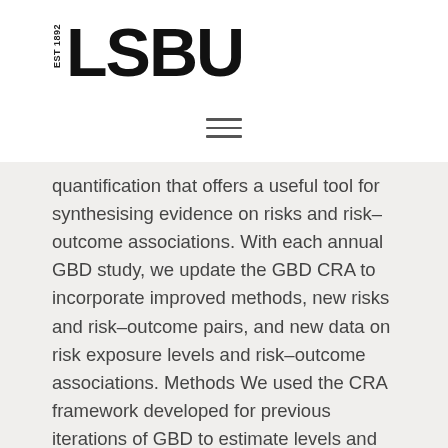[Figure (logo): LSBU logo with 'EST 1892' text on the left and large bold 'LSBU' text on the right]
[Figure (other): Hamburger menu icon with three horizontal lines]
quantification that offers a useful tool for synthesising evidence on risks and risk–outcome associations. With each annual GBD study, we update the GBD CRA to incorporate improved methods, new risks and risk–outcome pairs, and new data on risk exposure levels and risk–outcome associations. Methods We used the CRA framework developed for previous iterations of GBD to estimate levels and trends in exposure, attributable deaths, and attributable disability-adjusted life-years (DALYs), by age group, sex, year, and location for 84 behavioural, environmental and occupational, and metabolic risks or groups of risks from 1990 to 2017. This study included 476 risk–